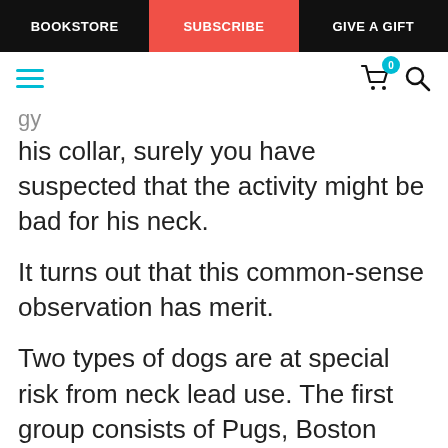BOOKSTORE | SUBSCRIBE | GIVE A GIFT
[Figure (screenshot): Website navigation toolbar with hamburger menu icon in teal, shopping cart icon with badge showing 0, and search icon]
his collar, surely you have suspected that the activity might be bad for his neck.
It turns out that this common-sense observation has merit.
Two types of dogs are at special risk from neck lead use. The first group consists of Pugs, Boston Terriers, Bulldogs, and other individuals with snubbed noses (so-called brachycephalic individuals). Due to the